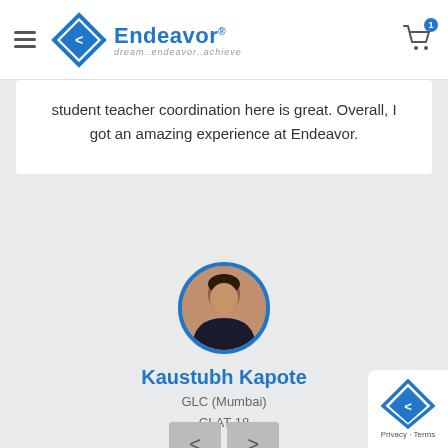[Figure (logo): Endeavor logo with hamburger menu and cart icon in page header]
student teacher coordination here is great. Overall, I got an amazing experience at Endeavor.
[Figure (photo): Circular profile photo of Kaustubh Kapote with blue border]
Kaustubh Kapote
GLC (Mumbai)
CLAT-18
[Figure (other): Left and right navigation arrow buttons]
[Figure (logo): Endeavor watermark logo at bottom right with Privacy - Terms text]